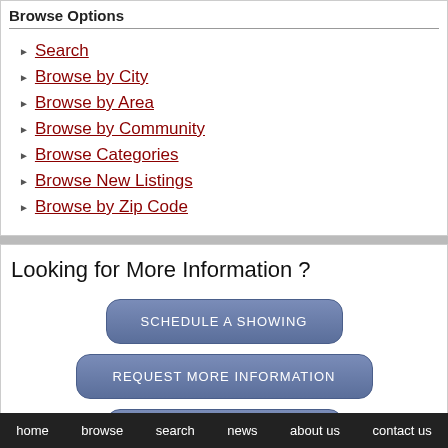Browse Options
Search
Browse by City
Browse by Area
Browse by Community
Browse Categories
Browse New Listings
Browse by Zip Code
Looking for More Information ?
SCHEDULE A SHOWING
REQUEST MORE INFORMATION
home  browse  search  news  about us  contact us